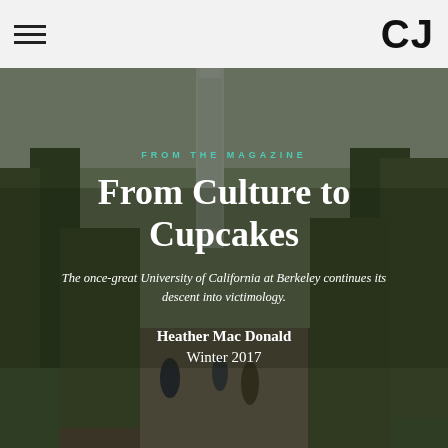CJ
[Figure (photo): Photograph of a tree-lined campus walkway at the University of California Berkeley, with a tall tower visible in the background and students walking along the path. Trees have bare, pruned branches. Overcast sky.]
FROM THE MAGAZINE
From Culture to Cupcakes
The once-great University of California at Berkeley continues its descent into victimology.
Heather Mac Donald
Winter 2017